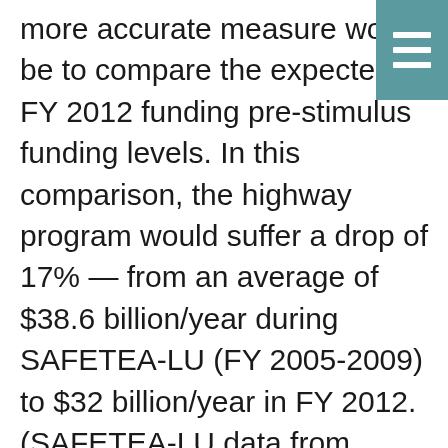more accurate measure would be to compare the expected FY 2012 funding pre-stimulus funding levels. In this comparison, the highway program would suffer a drop of 17% — from an average of $38.6 billion/year during SAFETEA-LU (FY 2005-2009) to $32 billion/year in FY 2012. (SAFETEA-LU data from www.fhwa.dot.gov/safetealu/safetea-lu_authorizations.pdf,  4/6/2006), Adding the  uncommitted HTF funds remaining in the Highway Account at the end of Fiscal Year 2011  ($14.8 billion, CBO estimate) would enable the annual highway allocation to be raised to about $34 billion/year...